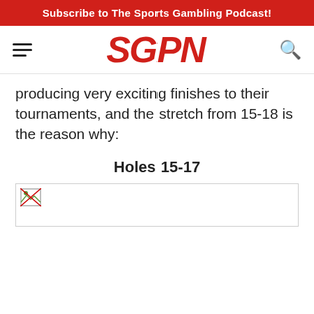Subscribe to The Sports Gambling Podcast!
[Figure (logo): SGPN logo in red italic bold text with hamburger menu and search icon]
producing very exciting finishes to their tournaments, and the stretch from 15-18 is the reason why:
Holes 15-17
[Figure (photo): Broken/unloaded image placeholder]